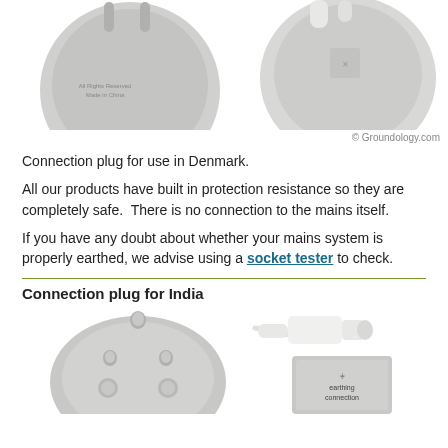[Figure (photo): Two photos of Denmark connection plugs - circular grey plugs viewed from below]
© Groundology.com
Connection plug for use in Denmark.
All our products have built in protection resistance so they are completely safe.  There is no connection to the mains itself.
If you have any doubt about whether your mains system is properly earthed, we advise using a socket tester to check.
Connection plug for India
[Figure (photo): Two photos of India connection plugs - a large silver/metal three-pin plug and an earthing connection box device]